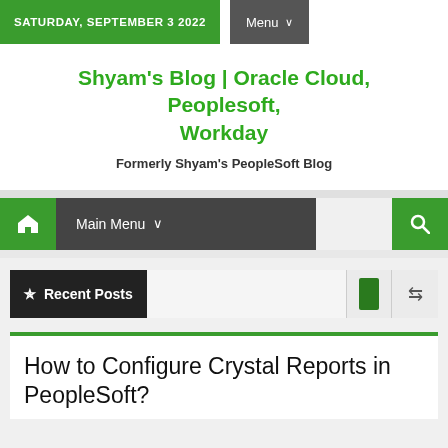SATURDAY, SEPTEMBER 3 2022
Shyam's Blog | Oracle Cloud, Peoplesoft, Workday
Formerly Shyam's PeopleSoft Blog
Main Menu
Recent Posts
How to Configure Crystal Reports in PeopleSoft?